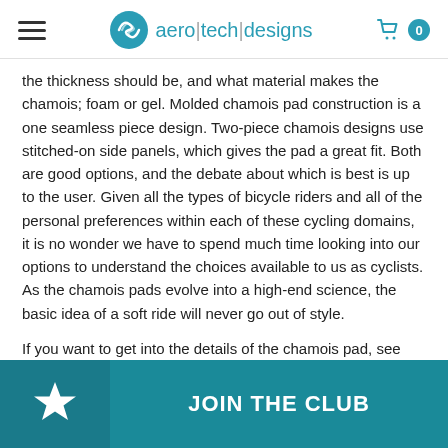aero|tech|designs
the thickness should be, and what material makes the chamois; foam or gel. Molded chamois pad construction is a one seamless piece design. Two-piece chamois designs use stitched-on side panels, which gives the pad a great fit. Both are good options, and the debate about which is best is up to the user. Given all the types of bicycle riders and all of the personal preferences within each of these cycling domains, it is no wonder we have to spend much time looking into our options to understand the choices available to us as cyclists. As the chamois pads evolve into a high-end science, the basic idea of a soft ride will never go out of style.
If you want to get into the details of the chamois pad, see this page on: How to Get Comfortable Cycling with Chamois Padded Bike We also sell replacement foam chamois pads that you can grade or repair your older bike sh
JOIN THE CLUB